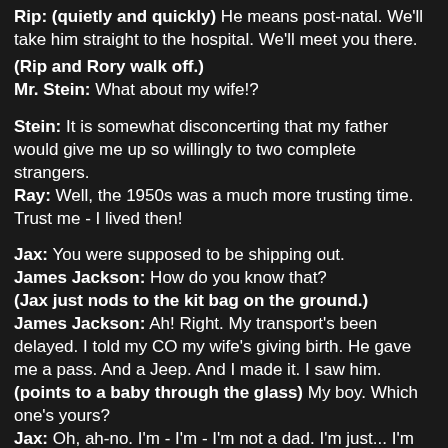Rip: (quietly and quickly) He means post-natal. We'll take him straight to the hospital. We'll meet you there.
(Rip and Rory walk off.)
Mr. Stein: What about my wife!?
Stein: It is somewhat disconcerting that my father would give me up so willingly to two complete strangers.
Ray: Well, the 1950s was a much more trusting time. Trust me - I lived then!
Jax: You were supposed to be shipping out.
James Jackson: How do you know that?
(Jax just nods to the kit bag on the ground.)
James Jackson: Ah! Right. My transport's been delayed. I told my CO my wife's giving birth. He gave me a pass. And a Jeep. And I made it. I saw him. (points to a baby through the glass) My boy. Which one's yours?
Jax: Oh, ah-no. I'm - I'm - I'm not a dad. I'm just... I'm here for my family.
James Jackson: Well, I hope you get to experience this for yourself one day. Imagining all the things my boy's gonna be when he grows up.